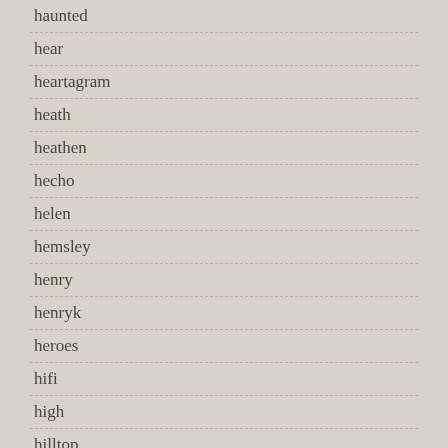haunted
hear
heartagram
heath
heathen
hecho
helen
hemsley
henry
henryk
heroes
hifi
high
hilltop
history
hologram